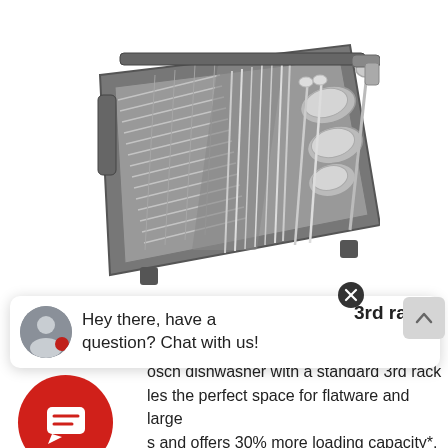[Figure (photo): Black and white photo of a dishwasher 3rd rack/cutlery tray filled with flatware, utensils, and round containers, viewed from above at an angle. The rack is gray plastic with metal wire dividers.]
Hey there, have a question? Chat with us!
3rd rack
osch dishwasher with a standard 3rd rack les the perfect space for flatware and large s and offers 30% more loading capacity*. Bosch dishwashers with two racks. And the unique V shape leaves room below both sides for